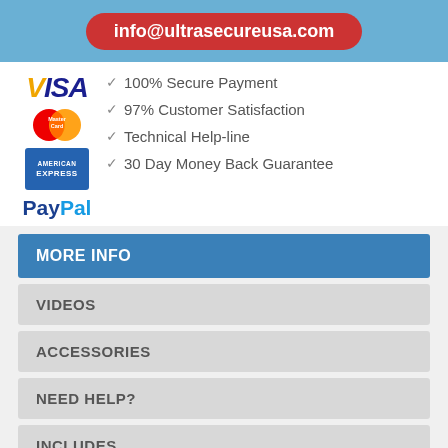info@ultrasecureusa.com
[Figure (logo): Payment logos: VISA, MasterCard, American Express, PayPal]
100% Secure Payment
97% Customer Satisfaction
Technical Help-line
30 Day Money Back Guarantee
MORE INFO
VIDEOS
ACCESSORIES
NEED HELP?
INCLUDES